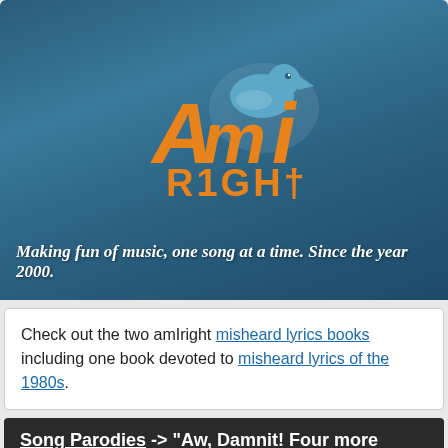[Figure (logo): AmIRight logo with orange and blue stylized letters and a bird figure, on a dark blue gradient background]
Making fun of music, one song at a time. Since the year 2000.
Check out the two amIright misheard lyrics books including one book devoted to misheard lyrics of the 1980s.
Song Parodies -> "Aw, Damnit! Four more years!"
Original Song Title: "Hey Mama" (MP3)
Original Performer: Black Eyed Peas